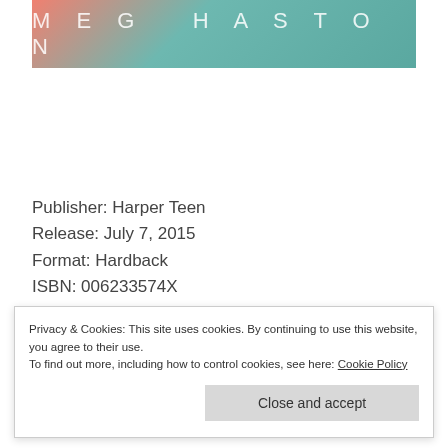[Figure (illustration): Book cover banner showing author name 'MEG HASTON' in spaced white letters on a teal/coral gradient background]
Publisher: Harper Teen
Release: July 7, 2015
Format: Hardback
ISBN: 006233574X
Pages: 304
Privacy & Cookies: This site uses cookies. By continuing to use this website, you agree to their use.
To find out more, including how to control cookies, see here: Cookie Policy
Close and accept